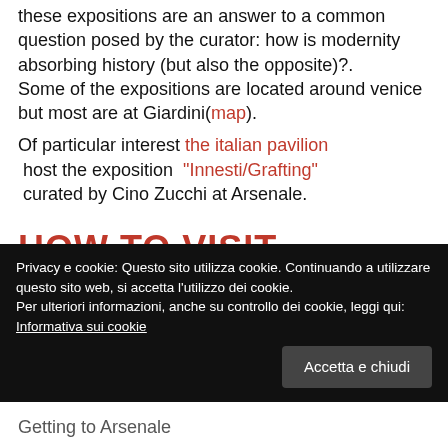these expositions are an answer to a common question posed by the curator: how is modernity absorbing history (but also the opposite)?.
Some of the expositions are located around venice but most are at Giardini(map).
Of particular interest the italian pavilion host the exposition "Innesti/Grafting" curated by Cino Zucchi at Arsenale.
HOW TO VISIT
We will get to the
Privacy e cookie: Questo sito utilizza cookie. Continuando a utilizzare questo sito web, si accetta l'utilizzo dei cookie. Per ulteriori informazioni, anche su controllo dei cookie, leggi qui: Informativa sui cookie
Getting to Arsenale